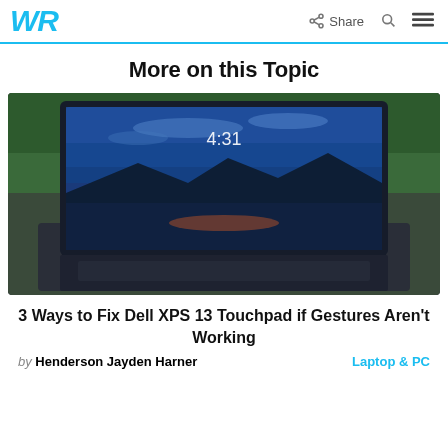WR  Share
More on this Topic
[Figure (photo): A Dell XPS 13 laptop open on an outdoor table, screen showing a sunset landscape wallpaper with time 4:31, green trees in background.]
3 Ways to Fix Dell XPS 13 Touchpad if Gestures Aren't Working
by Henderson Jayden Harner   Laptop & PC